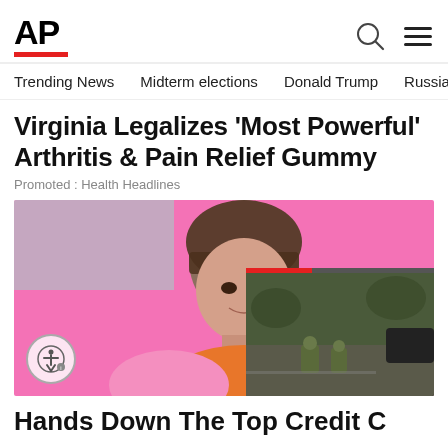AP
Trending News   Midterm elections   Donald Trump   Russia-Ukr
Virginia Legalizes 'Most Powerful' Arthritis & Pain Relief Gummy
Promoted : Health Headlines
[Figure (photo): Woman with dark hair and bangs smiling against a pink background, holding a yellow/gold card or object near her chin. An accessibility icon button is visible in the lower left. A video overlay in the lower right shows soldiers/military personnel on a street scene with a red progress bar at top and an X close button.]
Hands Down The Top Credit C